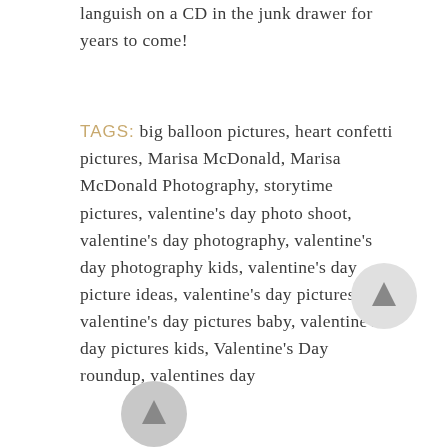languish on a CD in the junk drawer for years to come!
TAGS: big balloon pictures, heart confetti pictures, Marisa McDonald, Marisa McDonald Photography, storytime pictures, valentine's day photo shoot, valentine's day photography, valentine's day photography kids, valentine's day picture ideas, valentine's day pictures, valentine's day pictures baby, valentine's day pictures kids, Valentine's Day roundup, valentines day